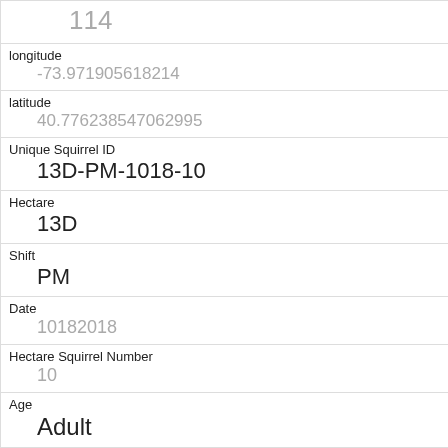| Field | Value |
| --- | --- |
|  | 114 |
| longitude | -73.971905618214 |
| latitude | 40.776238547062995 |
| Unique Squirrel ID | 13D-PM-1018-10 |
| Hectare | 13D |
| Shift | PM |
| Date | 10182018 |
| Hectare Squirrel Number | 10 |
| Age | Adult |
| Primary Fur Color | Gray |
| Highlight Fur Color | Cinnamon, White |